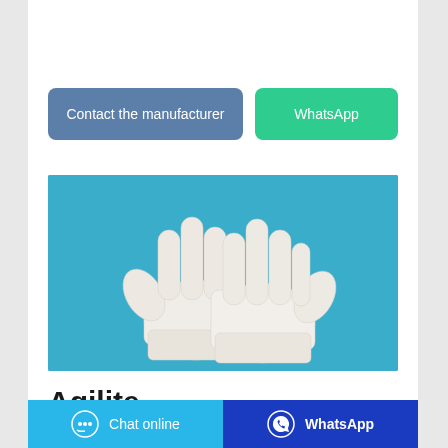Contact the manufacturer
WhatsApp
[Figure (photo): Two white latex/nitrile medical examination gloves photographed on a teal/blue background, shown from the back side, splayed open.]
Agilite
Chat online
WhatsApp